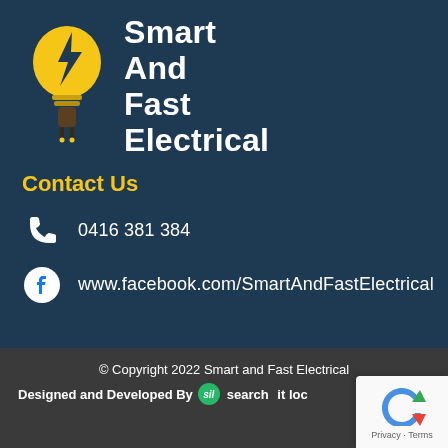[Figure (logo): Smart And Fast Electrical logo: yellow lightbulb with lightning bolt and electrical plug below, next to white text 'Smart And Fast Electrical' on dark blue background]
Contact Us
0416 381 384
www.facebook.com/SmartAndFastElectrical
© Copyright 2022 Smart and Fast Electrical
Designed and Developed By  search it loc